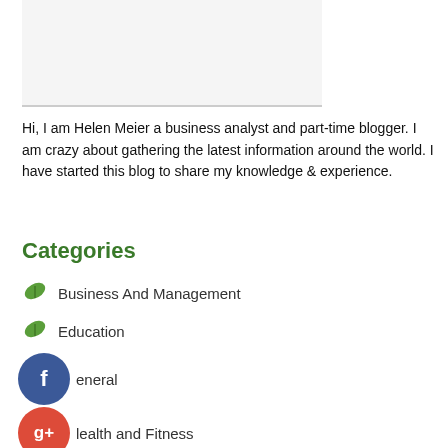[Figure (photo): Placeholder image area at top of sidebar]
Hi, I am Helen Meier a business analyst and part-time blogger. I am crazy about gathering the latest information around the world. I have started this blog to share my knowledge & experience.
Categories
Business And Management
Education
General
Health and Fitness
Home and Garden
Legal
Marketing and Advertising
Pets
Technology and Gadgets